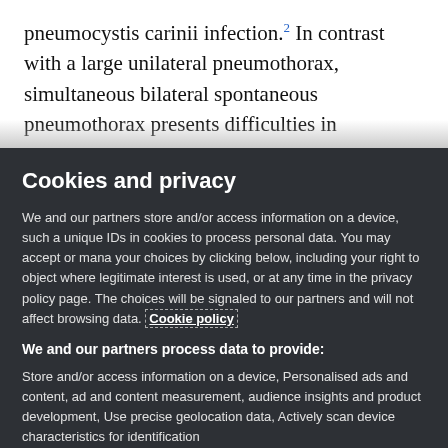pneumocystis carinii infection.2 In contrast with a large unilateral pneumothorax, simultaneous bilateral spontaneous pneumothorax presents difficulties in
Cookies and privacy
We and our partners store and/or access information on a device, such a unique IDs in cookies to process personal data. You may accept or mana your choices by clicking below, including your right to object where legitimate interest is used, or at any time in the privacy policy page. The choices will be signaled to our partners and will not affect browsing data. Cookie policy
We and our partners process data to provide:
Store and/or access information on a device, Personalised ads and content, ad and content measurement, audience insights and product development, Use precise geolocation data, Actively scan device characteristics for identification
List of Partners (vendors)
I Accept